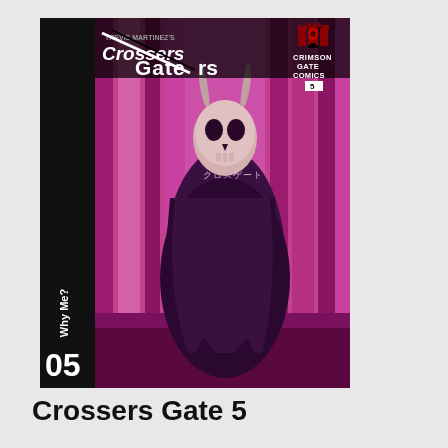[Figure (illustration): Comic book cover for 'Crossers Gate 5 - Why Me?' published by Crimson Gate Comics. The cover features a dark, eerie illustration of a skeletal/demonic creature with a skull face and horns, wearing a flowing dark robe/cloak, standing in front of magenta/pink vertical curtains or drapes. The background is predominantly pink/magenta with dark purple tones. The left side has a black vertical banner with white text reading 'Why Me?' vertically and '05' at the bottom. The top left has the 'Crossers Gate' logo in stylized text with a slash/X design. The top right shows 'CRIMSON GATE COMICS' text with a gothic castle/gate icon above it, and a small white label with '5' below. Japanese text (katakana) appears below the creature's skull head. The overall color palette is black, deep purple, and vivid magenta/pink.]
Crossers Gate 5